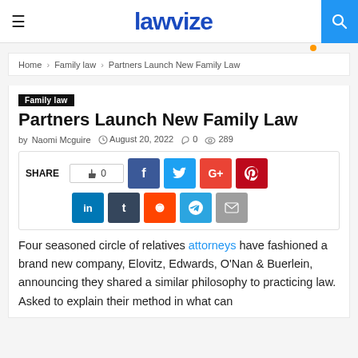lawvize
Home > Family law > Partners Launch New Family Law
Family law
Partners Launch New Family Law
by Naomi Mcguire  August 20, 2022  0  289
[Figure (infographic): Social share bar with SHARE label, like button (0), Facebook, Twitter, Google+, Pinterest, LinkedIn, Tumblr, Reddit, Telegram, Email buttons]
Four seasoned circle of relatives attorneys have fashioned a brand new company, Elovitz, Edwards, O'Nan & Buerlein, announcing they shared a similar philosophy to practicing law. Asked to explain their method in what can